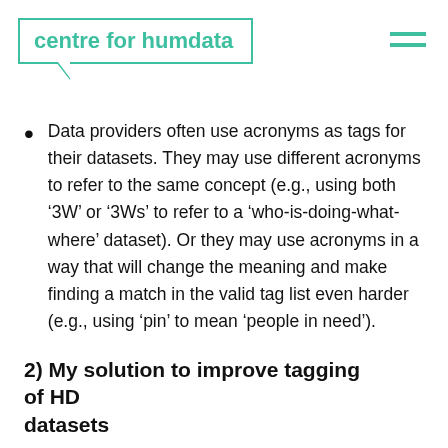centre for humdata
Data providers often use acronyms as tags for their datasets. They may use different acronyms to refer to the same concept (e.g., using both ‘3W’ or ‘3Ws’ to refer to a ‘who-is-doing-what-where’ dataset). Or they may use acronyms in a way that will change the meaning and make finding a match in the valid tag list even harder (e.g., using ‘pin’ to mean ‘people in need’).
2) My solution to improve tagging of HD datasets